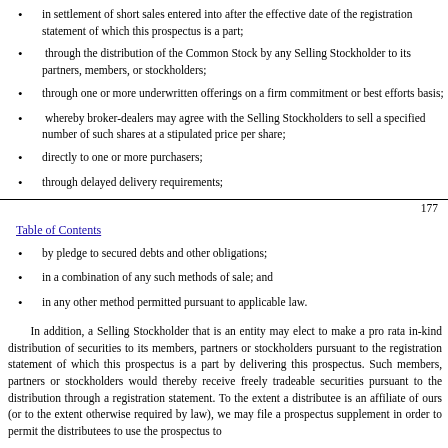in settlement of short sales entered into after the effective date of the registration statement of which this prospectus is a part;
through the distribution of the Common Stock by any Selling Stockholder to its partners, members, or stockholders;
through one or more underwritten offerings on a firm commitment or best efforts basis;
whereby broker-dealers may agree with the Selling Stockholders to sell a specified number of such shares at a stipulated price per share;
directly to one or more purchasers;
through delayed delivery requirements;
177
Table of Contents
by pledge to secured debts and other obligations;
in a combination of any such methods of sale; and
in any other method permitted pursuant to applicable law.
In addition, a Selling Stockholder that is an entity may elect to make a pro rata in-kind distribution of securities to its members, partners or stockholders pursuant to the registration statement of which this prospectus is a part by delivering this prospectus. Such members, partners or stockholders would thereby receive freely tradeable securities pursuant to the distribution through a registration statement. To the extent a distributee is an affiliate of ours (or to the extent otherwise required by law), we may file a prospectus supplement in order to permit the distributees to use the prospectus to resell the securities acquired in the distribution.